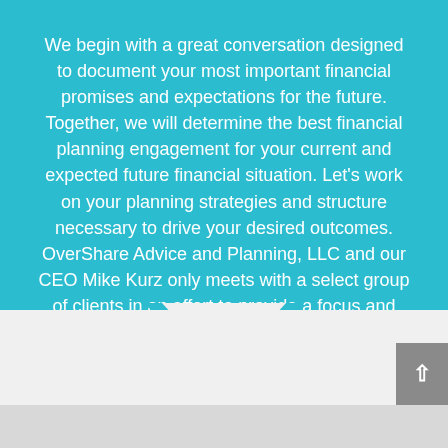We begin with a great conversation designed to document your most important financial promises and expectations for the future. Together, we will determine the best financial planning engagement for your current and expected future financial situation. Let's work on your planning strategies and structure necessary to drive your desired outcomes. OverShare Advice and Planning, LLC and our CEO Mike Kurz only meets with a select group of clients in an effort to provide a focus and dedicated core client engagement.